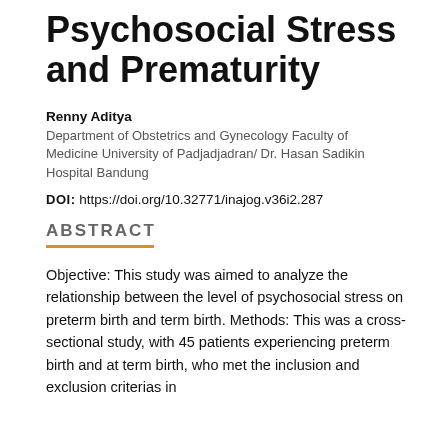Psychosocial Stress and Prematurity
Renny Aditya
Department of Obstetrics and Gynecology Faculty of Medicine University of Padjadjadran/ Dr. Hasan Sadikin Hospital Bandung
DOI: https://doi.org/10.32771/inajog.v36i2.287
ABSTRACT
Objective: This study was aimed to analyze the relationship between the level of psychosocial stress on preterm birth and term birth. Methods: This was a cross-sectional study, with 45 patients experiencing preterm birth and at term birth, who met the inclusion and exclusion criterias in